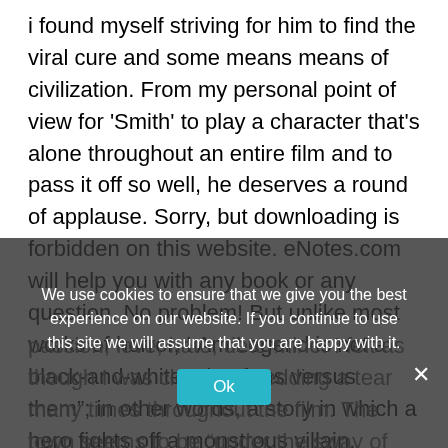i found myself striving for him to find the viral cure and some means means of civilization. From my personal point of view for 'Smith' to play a character that's alone throughout an entire film and to pass it off so well, he deserves a round of applause. Sorry, but downloading is forbidden on this website. eNotes.com will help you with any book or any question. No problem! But unlike most works of horror, I Am Legend is not a black-and-white tale of “us versus them”; in other words, a story in which a hero fights off a monstrous villain. Within the novel only one character composes them self (Catherine) and strives for what she believes in. The audience are teared through themes of honour, pride, passion, love, hate, determine. I felt as though I was close to shedding a tear many times throughout the film. The town seems to be “under the sway of some witching power, that holds a spell over the minds of the good people, causing them, Is this Essay helpful? Without any human connection
We use cookies to ensure that we give you the best experience on our website. If you continue to use this site we will assume that you are happy with it.